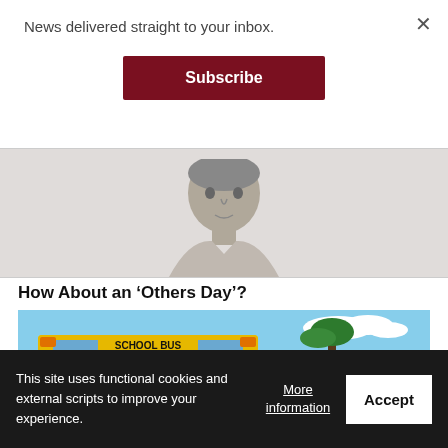News delivered straight to your inbox.
Subscribe
[Figure (photo): Grayscale headshot/silhouette of a person in a collared shirt, shown from shoulders up]
How About an ‘Others Day’?
[Figure (photo): Photo of yellow school buses parked outdoors with a person in a dark uniform and cap standing in front, palm trees and blue sky in background]
This site uses functional cookies and external scripts to improve your experience.
More information
Accept